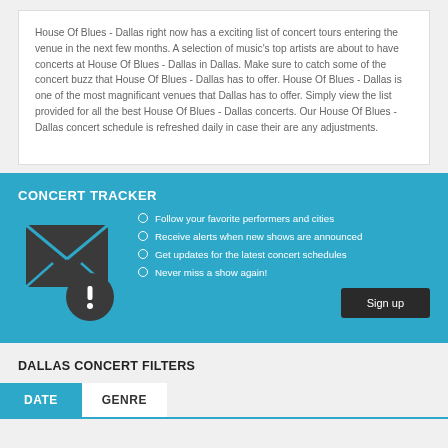House Of Blues - Dallas right now has a exciting list of concert tours entering the venue in the next few months. A selection of music's top artists are about to have concerts at House Of Blues - Dallas in Dallas. Make sure to catch some of the concert buzz that House Of Blues - Dallas has to offer. House Of Blues - Dallas is one of the most magnificant venues that Dallas has to offer. Simply view the list provided for all the best House Of Blues - Dallas concerts. Our House Of Blues - Dallas concert schedule is refreshed daily in case their are any adjustments.
CONCERT TRACKER
Follow your favorite performers and cities
Receive alerts when new shows are announced
Get updates for the latest concert schedules
Never miss a show again!
DALLAS CONCERT FILTERS